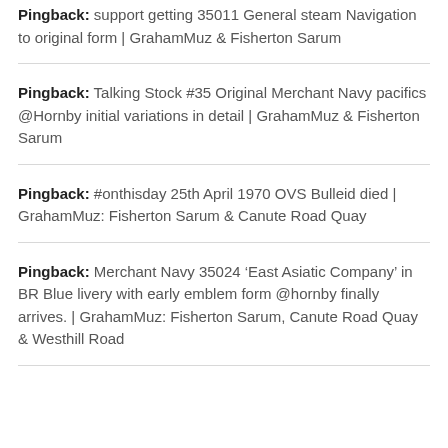Pingback: support getting 35011 General steam Navigation to original form | GrahamMuz & Fisherton Sarum
Pingback: Talking Stock #35 Original Merchant Navy pacifics @Hornby initial variations in detail | GrahamMuz & Fisherton Sarum
Pingback: #onthisday 25th April 1970 OVS Bulleid died | GrahamMuz: Fisherton Sarum & Canute Road Quay
Pingback: Merchant Navy 35024 ‘East Asiatic Company’ in BR Blue livery with early emblem form @hornby finally arrives. | GrahamMuz: Fisherton Sarum, Canute Road Quay & Westhill Road